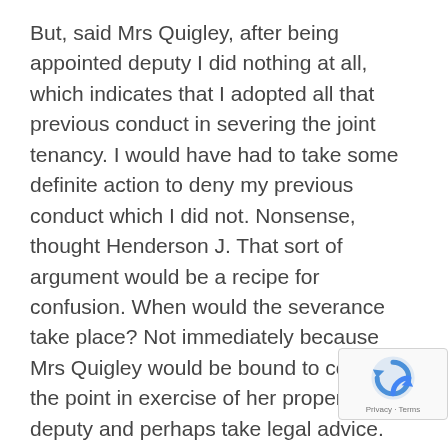But, said Mrs Quigley, after being appointed deputy I did nothing at all, which indicates that I adopted all that previous conduct in severing the joint tenancy. I would have had to take some definite action to deny my previous conduct which I did not. Nonsense, thought Henderson J. That sort of argument would be a recipe for confusion. When would the severance take place? Not immediately because Mrs Quigley would be bound to consider the point in exercise of her proper duty as deputy and perhaps take legal advice. There was, in any case no evidence she had done either.

Mrs Quigley's second argument was that